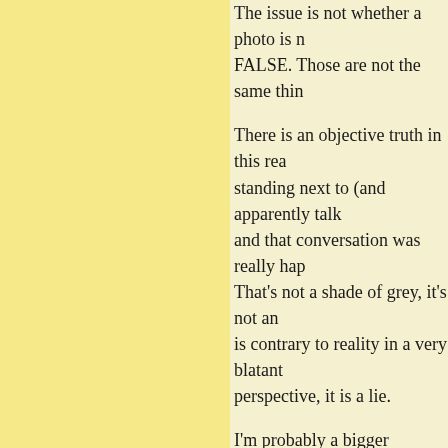The issue is not whether a photo is FALSE. Those are not the same thin...
There is an objective truth in this rea... standing next to (and apparently talk... and that conversation was really hap... That's not a shade of grey, it's not an... is contrary to reality in a very blatan... perspective, it is a lie.
I'm probably a bigger relativist than... that there is a scale and there are gra... opinion, all opinions are not equally... reality do not carry equal weight. Th... contradicting it.
~~~~~~~~~
Dear EB West,
I cannot speak to 30 years ago, havin... but if you'll allow me to go back 40...